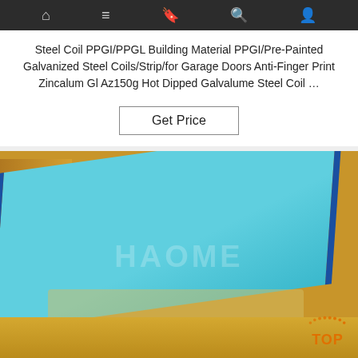Navigation bar with icons: home, menu, bookmark, search, profile
Steel Coil PPGI/PPGL Building Material PPGI/Pre-Painted Galvanized Steel Coils/Strip/for Garage Doors Anti-Finger Print Zincalum Gl Az150g Hot Dipped Galvalume Steel Coil …
Get Price
[Figure (photo): Product photo of a light blue pre-painted galvanized steel coil/sheet with HAOME watermark, shown with protective packaging materials and cardboard packing. A 'TOP' badge with orange dot pattern appears in the lower right corner.]